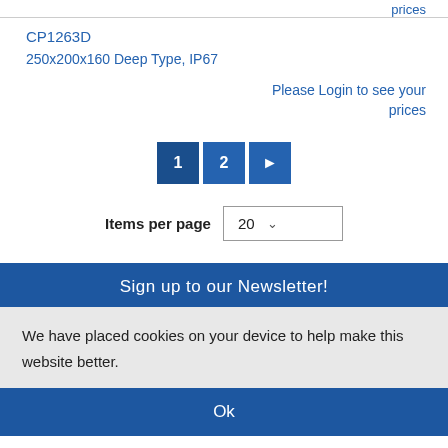prices
CP1263D
250x200x160 Deep Type, IP67
Please Login to see your prices
1  2  ▶
Items per page  20
Sign up to our Newsletter!
We have placed cookies on your device to help make this website better.
Ok